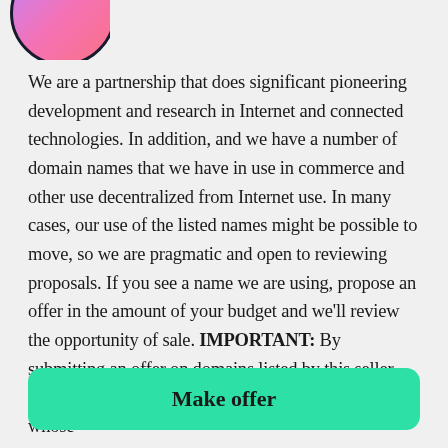[Figure (illustration): Partial view of a circular avatar with pink/purple gradient coloring, cropped at the top-left corner of the page]
We are a partnership that does significant pioneering development and research in Internet and connected technologies. In addition, and we have a number of domain names that we have in use in commerce and other use decentralized from Internet use. In many cases, our use of the listed names might be possible to move, so we are pragmatic and open to reviewing proposals. If you see a name we are using, propose an offer in the amount of your budget and we’ll review the opportunity of sale. IMPORTANT: By submitting an offer on domains listed by this seller, you confirm that neither you, nor the organization on whose
Make offer